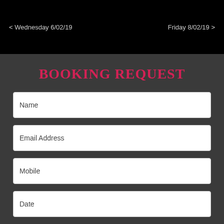< Wednesday 6/02/19    Friday 8/02/19 >
BOOKING REQUEST
Name
Email Address
Mobile
Date